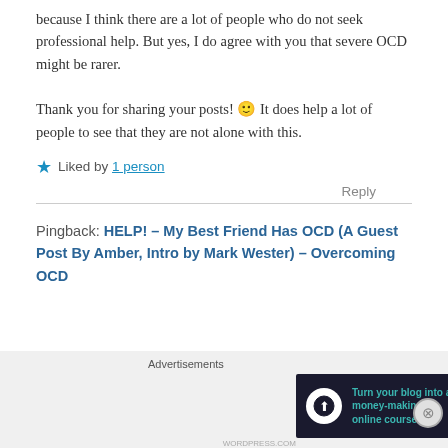because I think there are a lot of people who do not seek professional help. But yes, I do agree with you that severe OCD might be rarer.
Thank you for sharing your posts! 🙂 It does help a lot of people to see that they are not alone with this.
★ Liked by 1 person
Reply
Pingback: HELP! – My Best Friend Has OCD (A Guest Post By Amber, Intro by Mark Wester) – Overcoming OCD
Advertisements
[Figure (other): Advertisement banner: dark background with teal text 'Turn your blog into a money-making online course.' with a white arrow and a circular WordPress icon.]